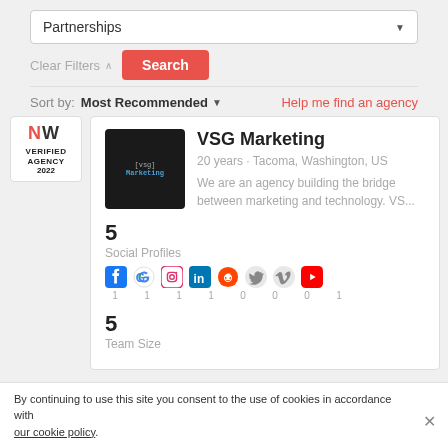Partnerships
Clear Filters
Search
Sort by: Most Recommended
Help me find an agency
[Figure (logo): Niagara verified agency 2022 badge with red NV logo]
VSG Marketing
20 years · Tacoma, Washington, US
We are an agency building the bridge between marketing and technology. VS...
5
Social Profiles
[Figure (infographic): Social media icons: Facebook, Google, Instagram, LinkedIn, Reddit, Twitter, Vimeo, YouTube with counts 1,1,1,1,0,0,0,1]
5
Team Size
By continuing to use this site you consent to the use of cookies in accordance with our cookie policy.